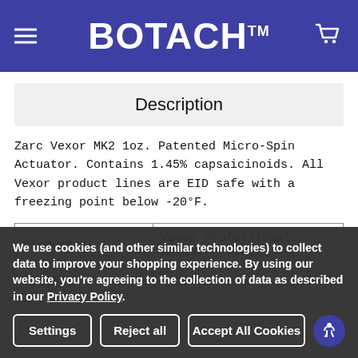BOTACH™
Description
Zarc Vexor MK2 1oz. Patented Micro-Spin Actuator. Contains 1.45% capsaicinoids. All Vexor product lines are EID safe with a freezing point below -20°F.
| Products: | Weight: |
| --- | --- |
| Products: | Vexor Professional Active Products |
| Weight: | 4.13 OZ |
We use cookies (and other similar technologies) to collect data to improve your shopping experience. By using our website, you're agreeing to the collection of data as described in our Privacy Policy.
Settings
Reject all
Accept All Cookies